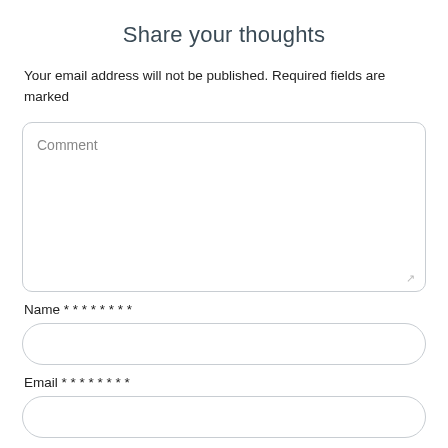Share your thoughts
Your email address will not be published. Required fields are marked
Comment
Name * * * * * * * *
Email * * * * * * * *